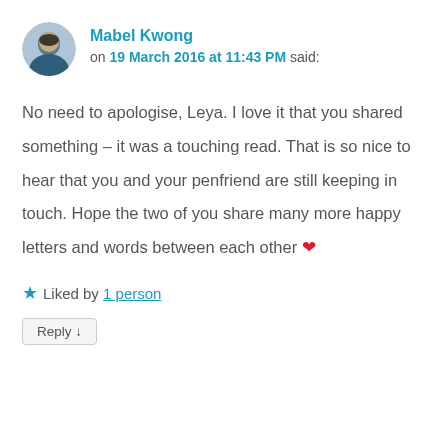Mabel Kwong
on 19 March 2016 at 11:43 PM said:
No need to apologise, Leya. I love it that you shared something – it was a touching read. That is so nice to hear that you and your penfriend are still keeping in touch. Hope the two of you share many more happy letters and words between each other ❤
★ Liked by 1 person
Reply ↓